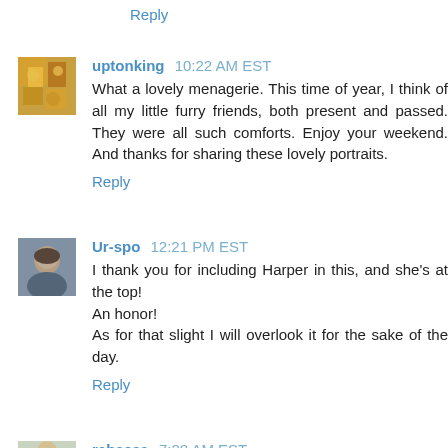Reply
uptonking 10:22 AM EST
What a lovely menagerie. This time of year, I think of all my little furry friends, both present and passed. They were all such comforts. Enjoy your weekend. And thanks for sharing these lovely portraits.
Reply
Ur-spo 12:21 PM EST
I thank you for including Harper in this, and she's at the top! An honor! As for that slight I will overlook it for the sake of the day.
Reply
rebecca 7:28 AM EST
Wonderful!!